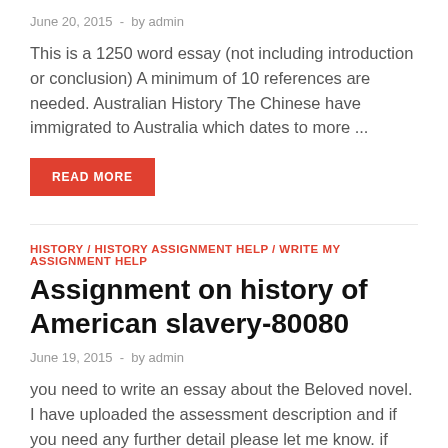June 20, 2015  -  by admin
This is a 1250 word essay (not including introduction or conclusion) A minimum of 10 references are needed. Australian History The Chinese have immigrated to Australia which dates to more ...
READ MORE
HISTORY / HISTORY ASSIGNMENT HELP / WRITE MY ASSIGNMENT HELP
Assignment on history of American slavery-80080
June 19, 2015  -  by admin
you need to write an essay about the Beloved novel. I have uploaded the assessment description and if you need any further detail please let me know. if you need ...
READ MORE